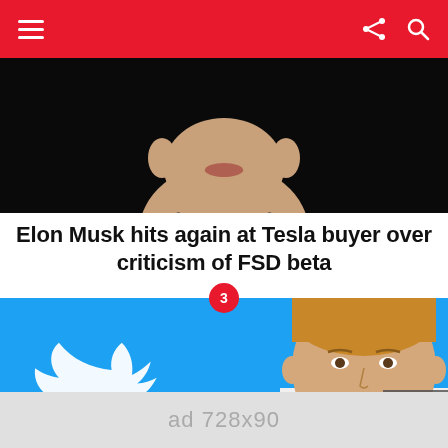Navigation header with hamburger menu, share icon, and search icon
[Figure (photo): Close-up photo of a man's lower face and chin against a dark background]
Elon Musk hits again at Tesla buyer over criticism of FSD beta
[Figure (photo): Twitter blue background with Twitter bird logo and headshot of a man (Peiter Zatko), number 3 badge overlay]
Twitter whisleblower Zatko to testify at US Conaess on Sep 13
× close
ad 728x90